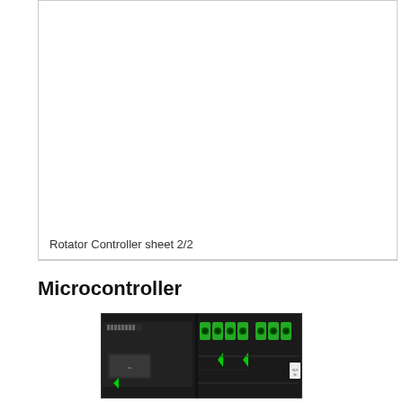[Figure (schematic): Rotator Controller schematic sheet 2/2 — mostly white/empty area at top of page inside a bordered box]
Rotator Controller sheet 2/2
Microcontroller
[Figure (photo): Photograph of a microcontroller PCB with black housing, green screw terminal blocks, and various electronic components and connectors visible.]